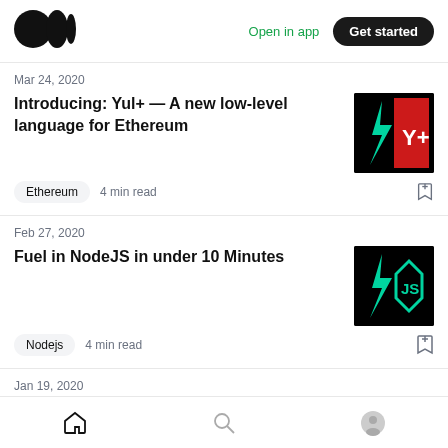Medium logo | Open in app | Get started
Mar 24, 2020
Introducing: Yul+ — A new low-level language for Ethereum
Ethereum  4 min read
Feb 27, 2020
Fuel in NodeJS in under 10 Minutes
Nodejs  4 min read
Jan 19, 2020
Announcing the Fuel v0 Open Beta
Home | Search | Profile